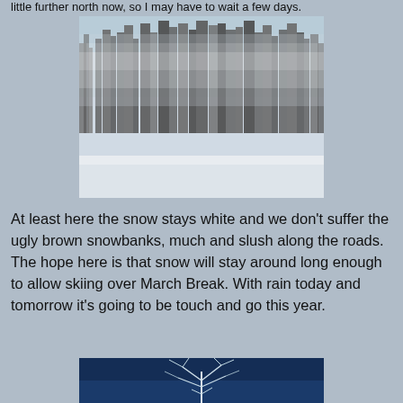little further north now, so I may have to wait a few days.
[Figure (photo): Frost-covered bare trees in winter landscape with snow on the ground and light blue sky]
At least here the snow stays white and we don't suffer the ugly brown snowbanks, much and slush along the roads. The hope here is that snow will stay around long enough to allow skiing over March Break. With rain today and tomorrow it's going to be touch and go this year.
[Figure (photo): Close-up of frost-covered branches against deep blue night sky]